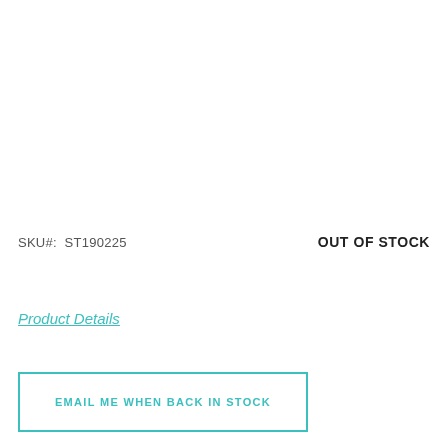SKU#:  ST190225
OUT OF STOCK
Product Details
EMAIL ME WHEN BACK IN STOCK